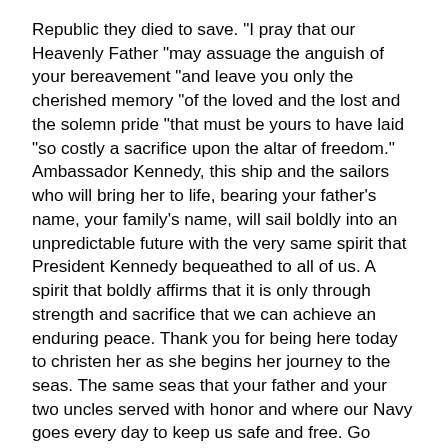Republic they died to save. "I pray that our Heavenly Father "may assuage the anguish of your bereavement "and leave you only the cherished memory "of the loved and the lost and the solemn pride "that must be yours to have laid "so costly a sacrifice upon the altar of freedom." Ambassador Kennedy, this ship and the sailors who will bring her to life, bearing your father's name, your family's name, will sail boldly into an unpredictable future with the very same spirit that President Kennedy bequeathed to all of us. A spirit that boldly affirms that it is only through strength and sacrifice that we can achieve an enduring peace. Thank you for being here today to christen her as she begins her journey to the seas. The same seas that your father and your two uncles served with honor and where our Navy goes every day to keep us safe and free. Go Navy, go John F Kennedy, and of course, as always, beat Army, thank you.
Thank you very much Senator Modly. I now have the